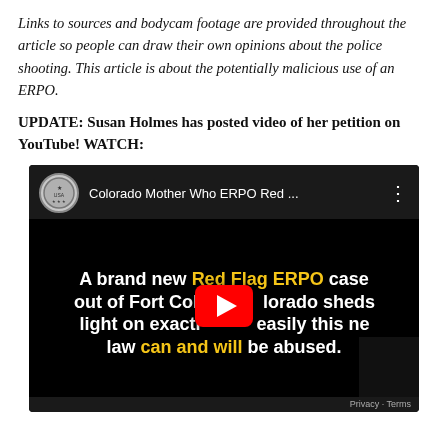Links to sources and bodycam footage are provided throughout the article so people can draw their own opinions about the police shooting. This article is about the potentially malicious use of an ERPO.
UPDATE: Susan Holmes has posted video of her petition on YouTube! WATCH:
[Figure (screenshot): YouTube video thumbnail showing 'Colorado Mother Who ERPO Red ...' with text: 'A brand new Red Flag ERPO case out of Fort Collins, Colorado sheds light on exactly how easily this new law can and will be abused.' The YouTube play button is visible in the center.]